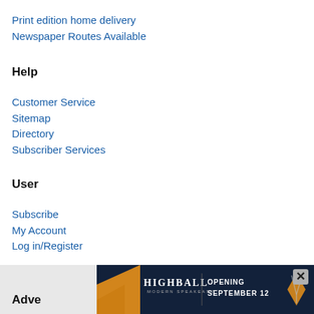Print edition home delivery
Newspaper Routes Available
Help
Customer Service
Sitemap
Directory
Subscriber Services
User
Subscribe
My Account
Log in/Register
Adve…
[Figure (other): Advertisement banner for Highball Modern Speakeasy opening September 12, with gold and dark blue design, showing cocktail glasses]